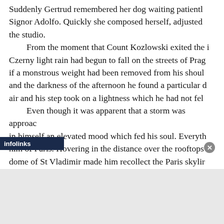Suddenly Gertrud remembered her dog waiting patiently for Signor Adolfo. Quickly she composed herself, adjusted the studio.
    From the moment that Count Kozlowski exited the i Czerny light rain had begun to fall on the streets of Prag if a monstrous weight had been removed from his shoul and the darkness of the afternoon he found a particular d air and his step took on a lightness which he had not fel
    Even though it was apparent that a storm was approac in himself an elevated mood which fed his soul. Everyth him of Paris. Hovering in the distance over the rooftops dome of St Vladimir made him recollect the Paris skylin l to be written in the French language. For a mo